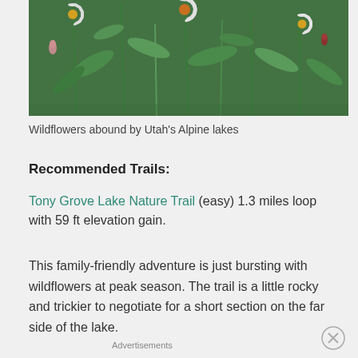[Figure (photo): Photograph of wildflowers (white daisy-like flowers with yellow centers) among green stems and leaves by Utah's Alpine lakes]
Wildflowers abound by Utah's Alpine lakes
Recommended Trails:
Tony Grove Lake Nature Trail (easy) 1.3 miles loop with 59 ft elevation gain.
This family-friendly adventure is just bursting with wildflowers at peak season. The trail is a little rocky and trickier to negotiate for a short section on the far side of the lake.
Advertisements